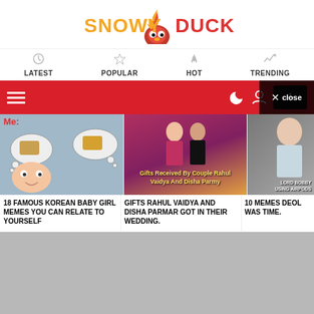[Figure (logo): SnowyDuck logo with orange flame icon above, orange text SNOWY and red text DUCK]
LATEST | POPULAR | HOT | TRENDING
[Figure (screenshot): Red toolbar with hamburger menu icon, moon icon, user icon, and black plus button, with close button overlay]
[Figure (photo): Korean baby girl meme image with thought bubbles showing food, labeled 'Me:']
18 FAMOUS KOREAN BABY GIRL MEMES YOU CAN RELATE TO YOURSELF
[Figure (photo): Couple Rahul Vaidya and Disha Parmy in wedding attire with overlay text 'Gifts Received By Couple Rahul Vaidya And Disha Parmy']
GIFTS RAHUL VAIDYA AND DISHA PARMAR GOT IN THEIR WEDDING.
[Figure (photo): Partial image with overlay text LORD BOBBY USING AIRPODS]
10 MEMES DEOL WAS TIME.